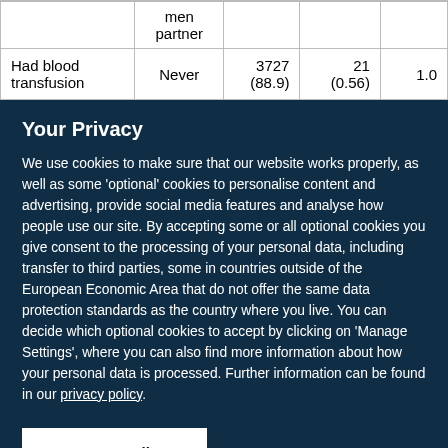|  |  |  |  |  |
| --- | --- | --- | --- | --- |
|  | men partner |  |  |  |
| Had blood transfusion | Never | 3727 (88.9) | 21 (0.56) | 1.0 |
Your Privacy
We use cookies to make sure that our website works properly, as well as some 'optional' cookies to personalise content and advertising, provide social media features and analyse how people use our site. By accepting some or all optional cookies you give consent to the processing of your personal data, including transfer to third parties, some in countries outside of the European Economic Area that do not offer the same data protection standards as the country where you live. You can decide which optional cookies to accept by clicking on 'Manage Settings', where you can also find more information about how your personal data is processed. Further information can be found in our privacy policy.
Accept all cookies
Manage preferences